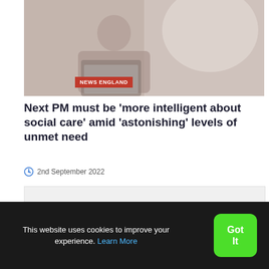[Figure (photo): A person sitting and using a laptop, muted warm-tone photograph]
NEWS ENGLAND
Next PM must be 'more intelligent about social care' amid 'astonishing' levels of unmet need
2nd September 2022
This website uses cookies to improve your experience. Learn More
Got It